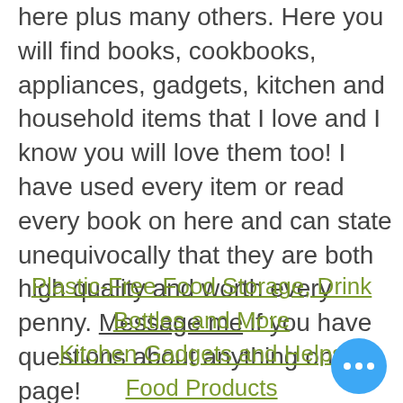here plus many others. Here you will find books, cookbooks, appliances, gadgets, kitchen and household items that I love and I know you will love them too! I have used every item or read every book on here and can state unequivocally that they are both high quality and worth every penny. Message me if you have questions about anything on this page!
Plastic-Free Food Storage, Drink Bottles and More
Kitchen Gadgets and Helps
Food Products
Cleaning Products
Books